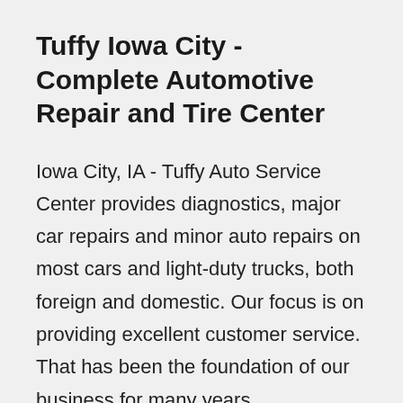Tuffy Iowa City - Complete Automotive Repair and Tire Center
Iowa City, IA - Tuffy Auto Service Center provides diagnostics, major car repairs and minor auto repairs on most cars and light-duty trucks, both foreign and domestic. Our focus is on providing excellent customer service. That has been the foundation of our business for many years.
We offer auto repair services to the Iowa City, Iowa community including brakes, tune-ups, and oil change services